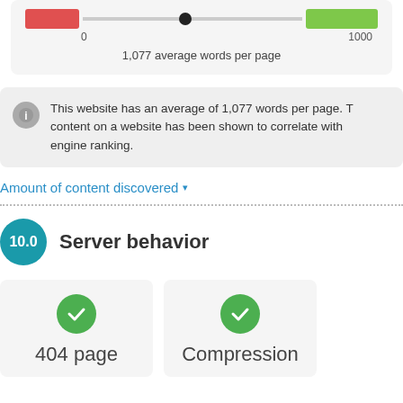[Figure (infographic): Slider graphic showing red bar on left, slider thumb in middle, green bar on right, with 0 and 1000 labels]
1,077 average words per page
This website has an average of 1,077 words per page. T... content on a website has been shown to correlate with ... engine ranking.
Amount of content discovered ▾
10.0  Server behavior
[Figure (infographic): Two cards each with green checkmark icon. Left card labeled '404 page', right card labeled 'Compression']